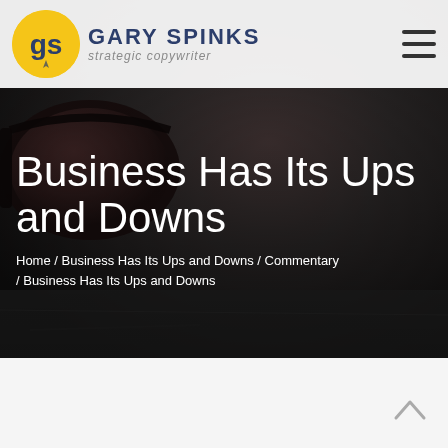GARY SPINKS strategic copywriter
Business Has Its Ups and Downs
Home / Business Has Its Ups and Downs / Commentary / Business Has Its Ups and Downs